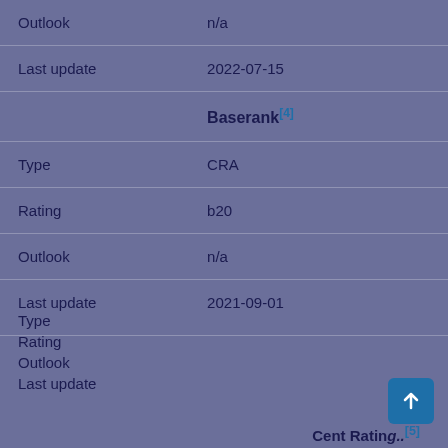| Outlook | n/a |
| Last update | 2022-07-15 |
|  | Baserank[4] |
| Type | CRA |
| Rating | b20 |
| Outlook | n/a |
| Last update | 2021-09-01 |
| Type |  |
| Rating |  |
| Outlook |  |
| Last update |  |